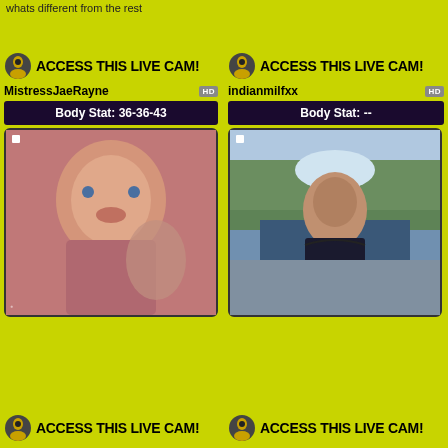whats different from the rest
[Figure (screenshot): ACCESS THIS LIVE CAM button with icon - left]
MistressJaeRayne HD
Body Stat: 36-36-43
[Figure (photo): Webcam image of woman with tattoos, pink/red toned selfie]
[Figure (screenshot): ACCESS THIS LIVE CAM button with icon - right]
indianmilfxx HD
Body Stat: --
[Figure (photo): Webcam image of woman in black bikini outdoors with mountain lake background]
[Figure (screenshot): ACCESS THIS LIVE CAM button with icon - bottom left]
[Figure (screenshot): ACCESS THIS LIVE CAM button with icon - bottom right]